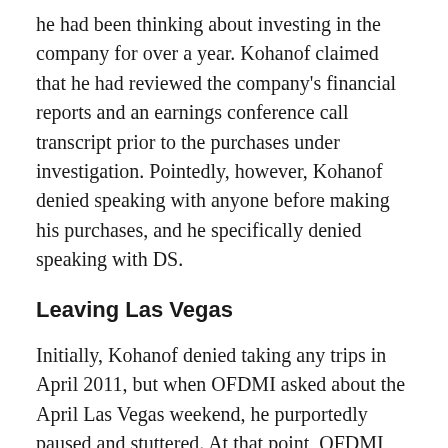he had been thinking about investing in the company for over a year. Kohanof claimed that he had reviewed the company's financial reports and an earnings conference call transcript prior to the purchases under investigation. Pointedly, however, Kohanof denied speaking with anyone before making his purchases, and he specifically denied speaking with DS.
Leaving Las Vegas
Initially, Kohanof denied taking any trips in April 2011, but when OFDMI asked about the April Las Vegas weekend, he purportedly paused and stuttered. At that point, OFDMI put the telephone call on hold in order to permit Kohanof time to reconsider his answer. Upon resuming the call, Kohanof admitted to the trip and allowed that DS might have been there. Despite that change of recollection, Kohanof did not recall meeting